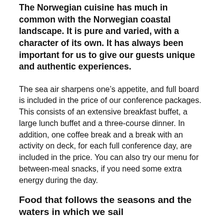The Norwegian cuisine has much in common with the Norwegian coastal landscape. It is pure and varied, with a character of its own. It has always been important for us to give our guests unique and authentic experiences.
The sea air sharpens one’s appetite, and full board is included in the price of our conference packages. This consists of an extensive breakfast buffet, a large lunch buffet and a three-course dinner. In addition, one coffee break and a break with an activity on deck, for each full conference day, are included in the price. You can also try our menu for between-meal snacks, if you need some extra energy during the day.
Food that follows the seasons and the waters in which we sail
We use four different menus as the year progresses. They are based on ingredients that are in season, and